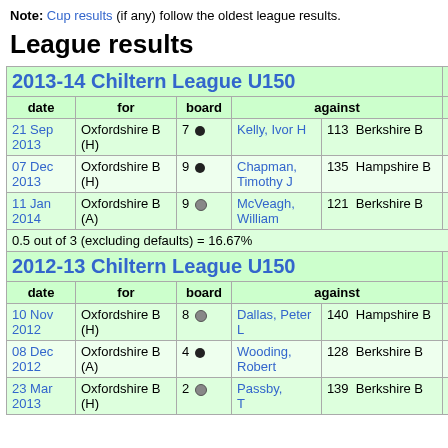Note: Cup results (if any) follow the oldest league results.
League results
| date | for | board | against |  | result |
| --- | --- | --- | --- | --- | --- |
| 21 Sep 2013 | Oxfordshire B (H) | 7 ● | Kelly, Ivor H | 113 Berkshire B | 0.5 |
| 07 Dec 2013 | Oxfordshire B (H) | 9 ● | Chapman, Timothy J | 135 Hampshire B | 0 |
| 11 Jan 2014 | Oxfordshire B (A) | 9 ○ | McVeagh, William | 121 Berkshire B | 0 |
| 0.5 out of 3 (excluding defaults) = 16.67% |  |  |  |  |  |
| date | for | board | against |  | result |
| --- | --- | --- | --- | --- | --- |
| 10 Nov 2012 | Oxfordshire B (H) | 8 ○ | Dallas, Peter L | 140 Hampshire B | 1 |
| 08 Dec 2012 | Oxfordshire B (A) | 4 ● | Wooding, Robert | 128 Berkshire B | 0.5 |
| 23 Mar 2013 | Oxfordshire B (H) | 2 ○ | Passby, T | 139 Berkshire B | 0.5 |